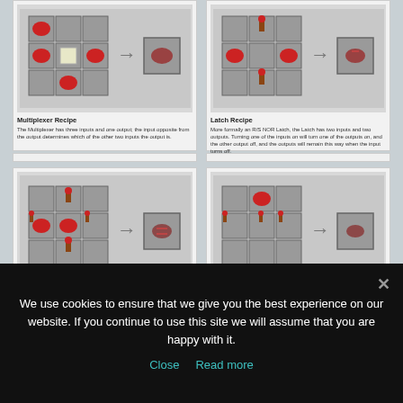[Figure (screenshot): Multiplexer Recipe - Minecraft crafting grid showing redstone dust and paper arrangement with arrow pointing to output item]
Multiplexer Recipe
The Multiplexer has three inputs and one output; the input opposite from the output determines which of the other two inputs the output is.
[Figure (screenshot): Latch Recipe - Minecraft crafting grid showing redstone dust arrangement with arrow pointing to output item]
Latch Recipe
More formally an R/S NOR Latch, the Latch has two inputs and two outputs. Turning one of the inputs on will turn one of the outputs on, and the other output off, and the outputs will remain this way when the input turns off.
[Figure (screenshot): AND Gate Recipe - Minecraft crafting grid showing redstone torches and dust arrangement with arrow pointing to output]
AND Gate Recipe
[Figure (screenshot): XOR Gate Recipe - Minecraft crafting grid showing redstone dust arrangement with arrow pointing to output]
XOR Gate Recipe
We use cookies to ensure that we give you the best experience on our website. If you continue to use this site we will assume that you are happy with it.